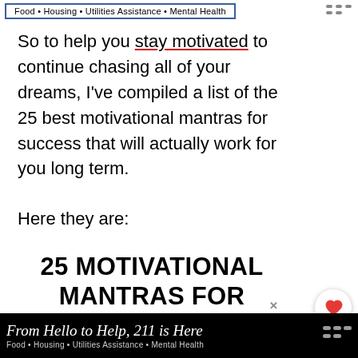Food • Housing • Utilities Assistance • Mental Health
So to help you stay motivated to continue chasing all of your dreams, I've compiled a list of the 25 best motivational mantras for success that will actually work for you long term.
Here they are:
25 MOTIVATIONAL MANTRAS FOR SUCCESS THAT WORK
[Figure (other): Gray image placeholder area at bottom of article]
From Hello to Help, 211 is Here — Food • Housing • Utilities Assistance • Mental Health